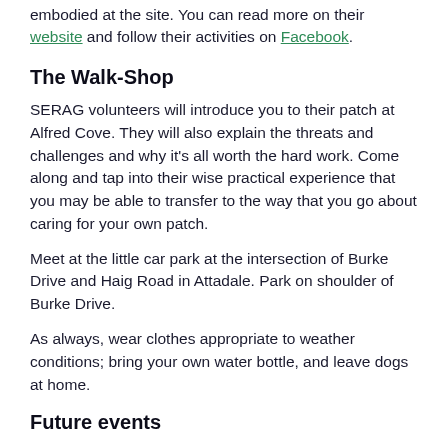embodied at the site. You can read more on their website and follow their activities on Facebook.
The Walk-Shop
SERAG volunteers will introduce you to their patch at Alfred Cove. They will also explain the threats and challenges and why it's all worth the hard work. Come along and tap into their wise practical experience that you may be able to transfer to the way that you go about caring for your own patch.
Meet at the little car park at the intersection of Burke Drive and Haig Road in Attadale. Park on shoulder of Burke Drive.
As always, wear clothes appropriate to weather conditions; bring your own water bottle, and leave dogs at home.
Future events